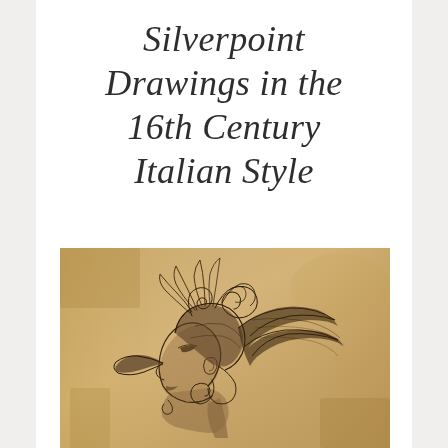Silverpoint Drawings in the 16th Century Italian Style
[Figure (illustration): A silverpoint drawing in 16th century Italian style depicting a profile view of a warrior or soldier wearing an elaborate ornate helmet with scrollwork, feathers, and decorative wings, rendered on aged parchment-colored paper with fine metalpoint lines.]